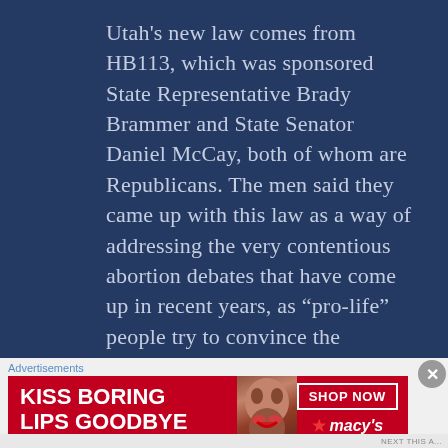Utah's new law comes from HB113, which was sponsored State Representative Brady Brammer and State Senator Daniel McCay, both of whom are Republicans. The men said they came up with this law as a way of addressing the very contentious abortion debates that have come up in recent years, as “pro-life” people try to convince the Supreme Court to overturn Roe v. Wade. Mr. Brammer confirmed that he hoped this bill would be sort of a
Advertisements
[Figure (infographic): Advertisement banner: red background with text 'KISS BORING LIPS GOODBYE', an image of a woman's face with red lips, a 'SHOP NOW' button, and Macy's logo with star]
NEXT THIS A...